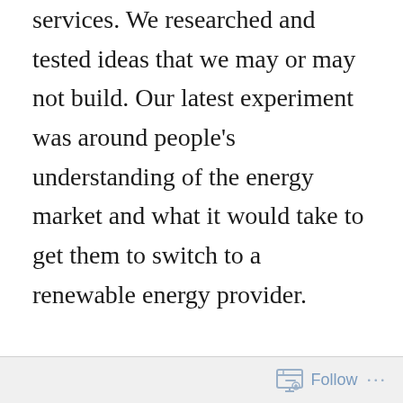services. We researched and tested ideas that we may or may not build. Our latest experiment was around people's understanding of the energy market and what it would take to get them to switch to a renewable energy provider.
For the last few months the Digital Product Research team has been exploring how we might speed up Britain's transition to sustainable energy controlled by its communities. By this we mean reducing our use of energy from fossil fuels bought from large multinational companies and
Follow